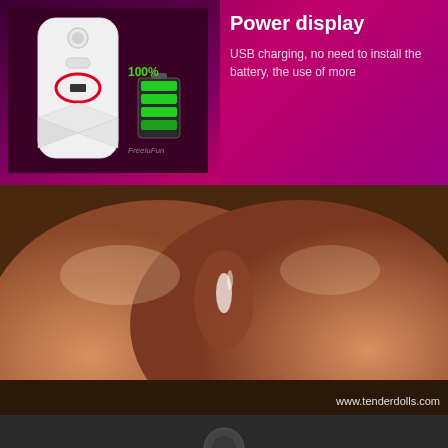[Figure (photo): Product photo showing a white electronic device with USB charging port circled in red, displayed against a dark purple-pink gradient background with a green battery icon showing 100% charge]
Power display
USB charging, no need to install the battery, the use of more
[Figure (photo): Close-up product photo of a flesh-toned adult toy with liquid, watermark www.tenderdolls.com visible]
[Figure (photo): Partial bottom panel showing dark gray background]